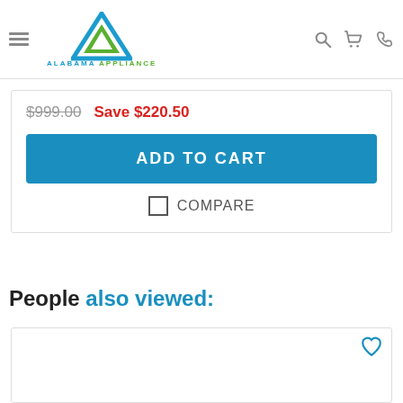Alabama Appliance
$999.00  Save $220.50
ADD TO CART
COMPARE
People also viewed: